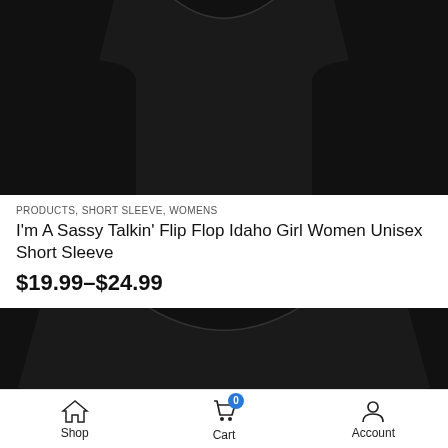[Figure (photo): Top portion of a black t-shirt product photo, cropped showing only the lower collar and chest area]
PRODUCTS, SHORT SLEEVE, WOMENS
I'm A Sassy Talkin' Flip Flop Idaho Girl Women Unisex Short Sleeve
$19.99–$24.99
[Figure (photo): Black t-shirt with text: I'm a sassy talkin' FLIP FLOP wearin' ILLINOIS, decorated with floral graphic]
Shop  Cart  Account